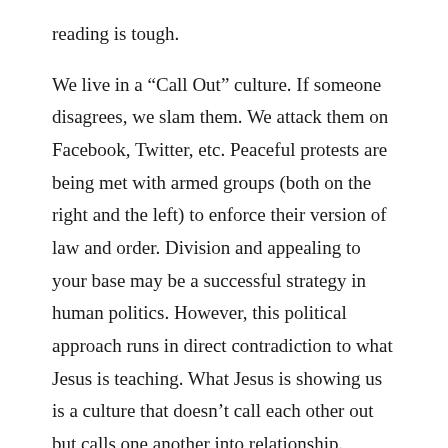reading is tough.
We live in a “Call Out” culture. If someone disagrees, we slam them. We attack them on Facebook, Twitter, etc. Peaceful protests are being met with armed groups (both on the right and the left) to enforce their version of law and order. Division and appealing to your base may be a successful strategy in human politics. However, this political approach runs in direct contradiction to what Jesus is teaching. What Jesus is showing us is a culture that doesn’t call each other out but calls one another into relationship.
“If another member of the church sins against you…
— Matthew 18:15